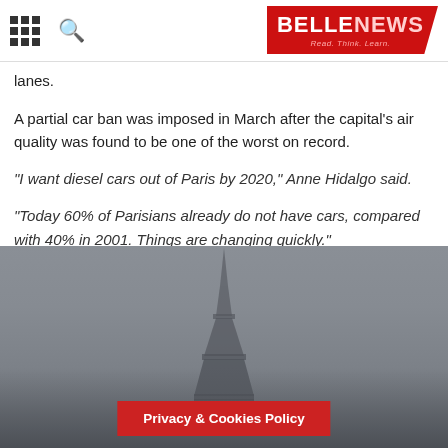BELLENEWS — Read. Think. Learn.
lanes.
A partial car ban was imposed in March after the capital's air quality was found to be one of the worst on record.
"I want diesel cars out of Paris by 2020," Anne Hidalgo said.
"Today 60% of Parisians already do not have cars, compared with 40% in 2001. Things are changing quickly."
[Figure (photo): Aerial photo of Paris skyline under heavy smog with Eiffel Tower visible through haze]
Privacy & Cookies Policy